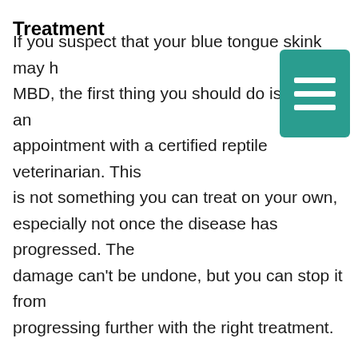Treatment
If you suspect that your blue tongue skink may have MBD, the first thing you should do is make an appointment with a certified reptile veterinarian. This is not something you can treat on your own, especially not once the disease has progressed. The damage can't be undone, but you can stop it from progressing further with the right treatment.
Although many blue tongue skinks have been successfully raised without UVB, a blue tongue skink with MBD will need exposure to appropriate levels of UVB for optimal recovery. In an 18-24" tall enclosure, you will need to install a strong, high-quality 24" UVB bulb like the Zoo Med Reptisun 10.0 T5 HO or the Arcadia Desert 12%, mounted inside of a reflective T5 HO fixture. This promotes natural vitamin